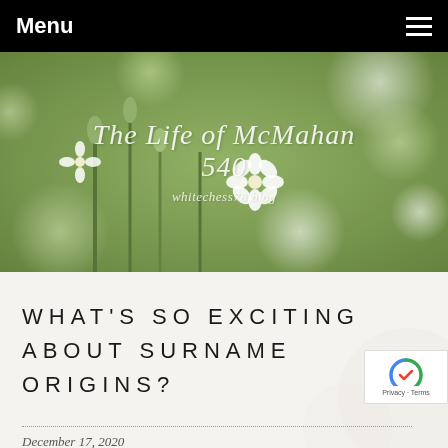Menu
[Figure (photo): Hero banner image showing white wildflowers and green bokeh background with the blog title 'The Life of McMahan 540' and subtitle 'whitechess78 blog' overlaid in italic white script text.]
WHAT'S SO EXCITING ABOUT SURNAME ORIGINS?
December 17, 2020